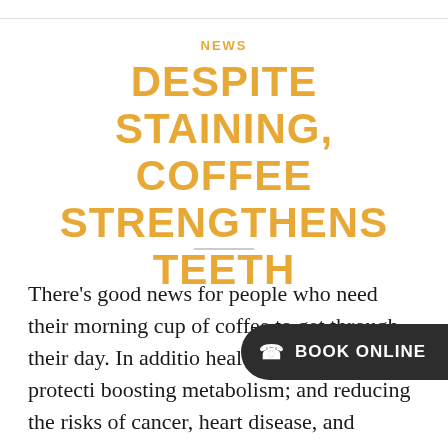NEWS
DESPITE STAINING, COFFEE STRENGTHENS TEETH
There's good news for people who need their morning cup of coffee to get through their day. In additio health benefits like protecti boosting metabolism; and reducing the risks of cancer, heart disease, and
BOOK ONLINE